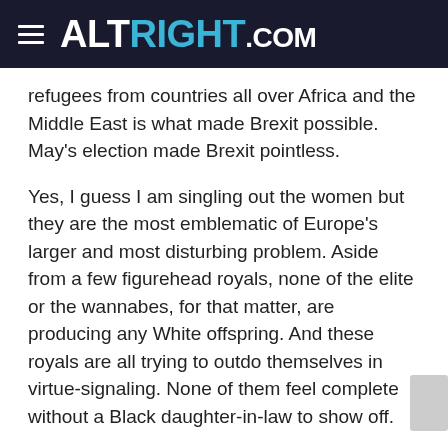ALTRIGHT.COM
refugees from countries all over Africa and the Middle East is what made Brexit possible. May's election made Brexit pointless.
Yes, I guess I am singling out the women but they are the most emblematic of Europe's larger and most disturbing problem. Aside from a few figurehead royals, none of the elite or the wannabes, for that matter, are producing any White offspring. And these royals are all trying to outdo themselves in virtue-signaling. None of them feel complete without a Black daughter-in-law to show off.